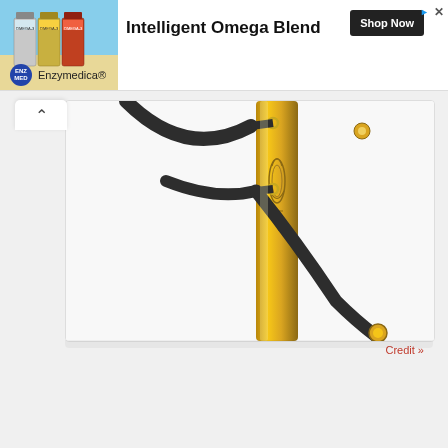[Figure (screenshot): Advertisement banner for Enzymedica Intelligent Omega Blend showing supplement bottles, headline text, Shop Now button, and brand logo]
[Figure (photo): Close-up photograph of a military saber/sword with a gold scabbard showing engraved decorative patterns and a dark leather-wrapped suspension strap with metal rings]
Credit »